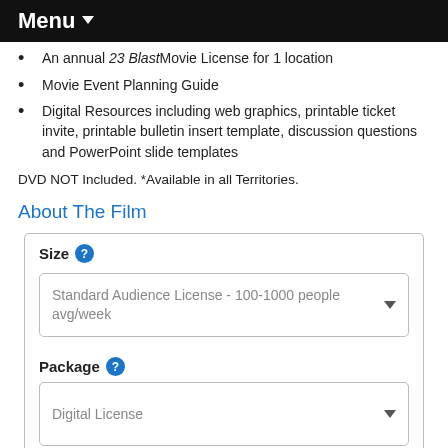Menu
An annual 23 Blast Movie License for 1 location
Movie Event Planning Guide
Digital Resources including web graphics, printable ticket invite, printable bulletin insert template, discussion questions and PowerPoint slide templates
DVD NOT Included. *Available in all Territories.
About The Film
Size
Standard Audience License - 100-1000 people avg/week
Package
Digital License